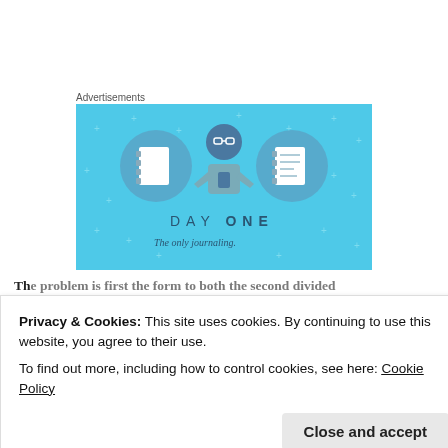Advertisements
[Figure (illustration): Day One journaling app advertisement with blue background showing a cartoon person holding a phone, flanked by two circular icons of notebook/journal, with text 'DAY ONE' and 'The only journaling.']
The problem is first the form to both the second dividend...
Privacy & Cookies: This site uses cookies. By continuing to use this website, you agree to their use.
To find out more, including how to control cookies, see here: Cookie Policy